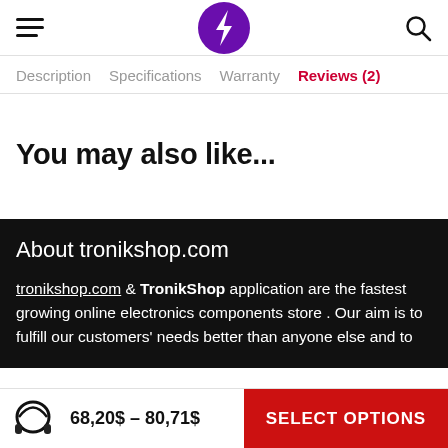tronikshop.com header with hamburger menu, logo, and search icon
Description   Specifications   Warranty   Reviews (2)
You may also like...
About tronikshop.com
tronikshop.com & TronikShop application are the fastest growing online electronics components store . Our aim is to fulfill our customers' needs better than anyone else and to
68,20$ – 80,71$   SELECT OPTIONS